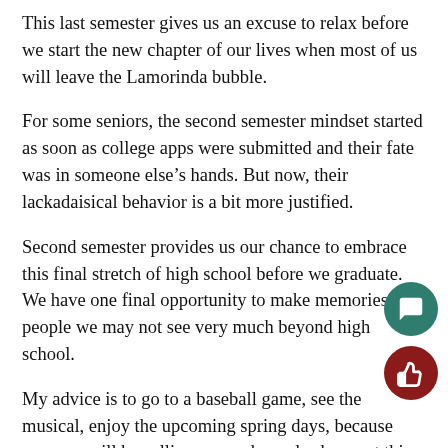This last semester gives us an excuse to relax before we start the new chapter of our lives when most of us will leave the Lamorinda bubble.
For some seniors, the second semester mindset started as soon as college apps were submitted and their fate was in someone else's hands. But now, their lackadaisical behavior is a bit more justified.
Second semester provides us our chance to embrace this final stretch of high school before we graduate. We have one final opportunity to make memories with people we may not see very much beyond high school.
My advice is to go to a baseball game, see the musical, enjoy the upcoming spring days, because soon we will be calling somewhere else home at this time of year. And underclassmen, keep working hard until you get here, because the payoff is worth it.